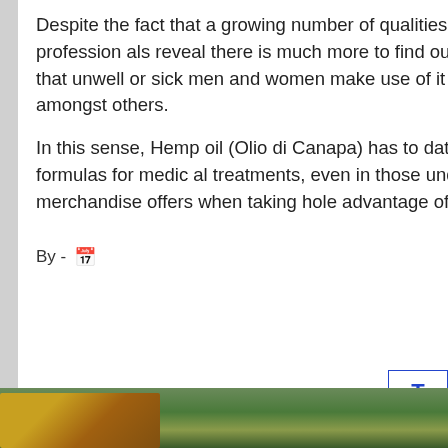Despite the fact that a growing number of qualities of Cannabis are acknowledged, the reality is that a lot of professionals reveal there is much more to find out.The use of Marijuana is constantly spread, to the point that unwell or sick men and women make use of it and players, people who have a diet or specific pursuits, amongst others.
In this sense, Hemp oil (Olio di Canapa) has to date been one of the most practical and unobtrusive formulas for medical treatments, even in those under 18. Without the need of a lot of the pros that this merchandise offers when taking whole advantage of all of the compound attributes.
By -   Leave a comment
[Figure (photo): Close-up photo of green cannabis plants with what appears to be a dropper/pipette, blurred background]
[Figure (other): TOP navigation button with blue border and blue arrow-up box on the right side of the page]